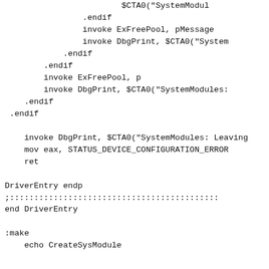Assembly/driver code snippet showing .endif blocks, invoke statements, DriverEntry endp, and :make section